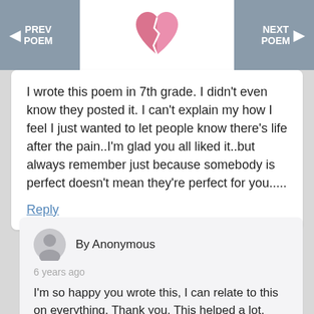PREV POEM | [logo] | NEXT POEM
I wrote this poem in 7th grade. I didn't even know they posted it. I can't explain my how I feel I just wanted to let people know there's life after the pain..I'm glad you all liked it..but always remember just because somebody is perfect doesn't mean they're perfect for you.....
Reply
By Anonymous
6 years ago
I'm so happy you wrote this, I can relate to this on everything. Thank you. This helped a lot.